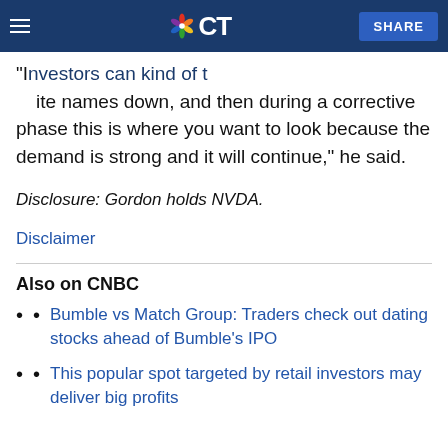CNBC CT — SHARE
"Investors can kind of take note of this, kind of write names down, and then during a corrective phase this is where you want to look because the demand is strong and it will continue," he said.
Disclosure: Gordon holds NVDA.
Disclaimer
Also on CNBC
Bumble vs Match Group: Traders check out dating stocks ahead of Bumble's IPO
This popular spot targeted by retail investors may deliver big profits